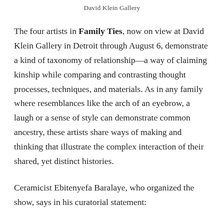David Klein Gallery
The four artists in Family Ties, now on view at David Klein Gallery in Detroit through August 6, demonstrate a kind of taxonomy of relationship—a way of claiming kinship while comparing and contrasting thought processes, techniques, and materials. As in any family where resemblances like the arch of an eyebrow, a laugh or a sense of style can demonstrate common ancestry, these artists share ways of making and thinking that illustrate the complex interaction of their shared, yet distinct histories.
Ceramicist Ebitenyefa Baralaye, who organized the show, says in his curatorial statement: